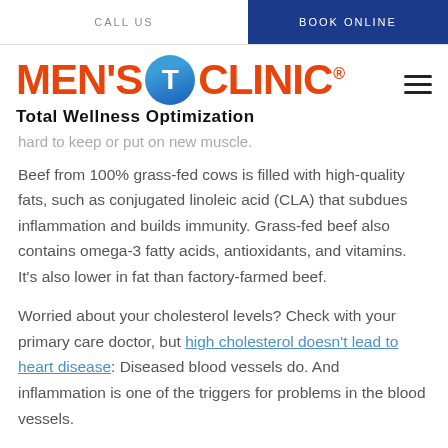CALL US   BOOK ONLINE
[Figure (logo): Men's T Clinic logo with orange text, blue circle T, and tagline Total Wellness Optimization]
hard to keep or put on new muscle.
Beef from 100% grass-fed cows is filled with high-quality fats, such as conjugated linoleic acid (CLA) that subdues inflammation and builds immunity. Grass-fed beef also contains omega-3 fatty acids, antioxidants, and vitamins. It's also lower in fat than factory-farmed beef.
Worried about your cholesterol levels? Check with your primary care doctor, but high cholesterol doesn't lead to heart disease: Diseased blood vessels do. And inflammation is one of the triggers for problems in the blood vessels.